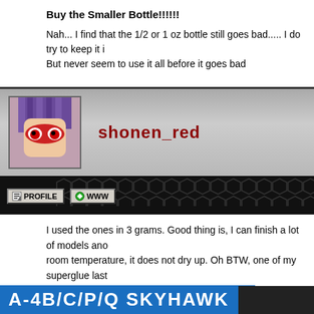Buy the Smaller Bottle!!!!!!

Nah... I find that the 1/2 or 1 oz bottle still goes bad..... I do try to keep it i But never seem to use it all before it goes bad
shonen_red
[Figure (illustration): Anime avatar with purple hair and red mask/face, pixelated style]
I used the ones in 3 grams. Good thing is, I can finish a lot of models ano room temperature, it does not dry up. Oh BTW, one of my superglue last of 3 grams. :-)
A-4B/C/P/Q SKYHAWK